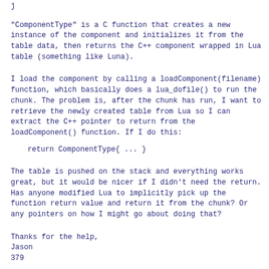"ComponentType" is a C function that creates a new instance of the component and initializes it from the table data, then returns the C++ component wrapped in Lua table (something like Luna).
I load the component by calling a loadComponent(filename) function, which basically does a lua_dofile() to run the chunk. The problem is, after the chunk has run, I want to retrieve the newly created table from Lua so I can extract the C++ pointer to return from the loadComponent() function. If I do this:
return ComponentType{ ... }
The table is pushed on the stack and everything works great, but it would be nicer if I didn't need the return. Has anyone modified Lua to implicitly pick up the function return value and return it from the chunk? Or any pointers on how I might go about doing that?
Thanks for the help,
Jason
379